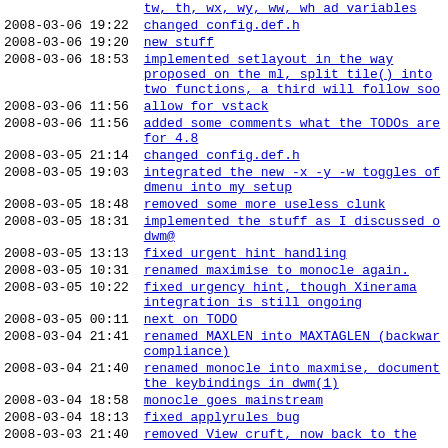tw, th, wx, wy, ww, wh ad variables
2008-03-06 19:22 changed config.def.h
2008-03-06 19:20 new stuff
2008-03-06 18:53 implemented setlayout in the way proposed on the ml, split tile() into two functions, a third will follow soo
2008-03-06 11:56 allow for vstack
2008-03-06 11:56 added some comments what the TODOs are for 4.8
2008-03-05 21:14 changed config.def.h
2008-03-05 19:03 integrated the new -x -y -w toggles of dmenu into my setup
2008-03-05 18:48 removed some more useless clunk
2008-03-05 18:31 implemented the stuff as I discussed o dwm@
2008-03-05 13:13 fixed urgent hint handling
2008-03-05 10:31 renamed maximise to monocle again.
2008-03-05 10:22 fixed urgency hint, though Xinerama integration is still ongoing
2008-03-05 00:11 next on TODO
2008-03-04 21:41 renamed MAXLEN into MAXTAGLEN (backwar compliance)
2008-03-04 21:40 renamed monocle into maxmise, document the keybindings in dwm(1)
2008-03-04 18:58 monocle goes mainstream
2008-03-04 18:13 fixed applyrules bug
2008-03-03 21:40 removed View cruft, now back to the